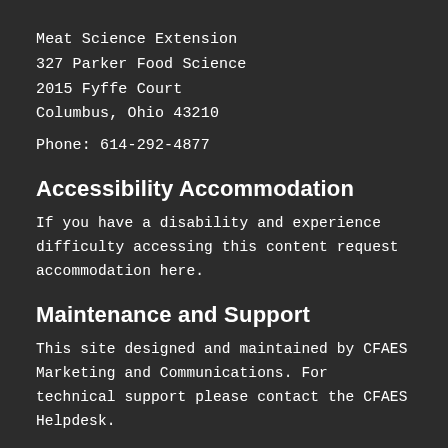Meat Science Extension
327 Parker Food Science
2015 Fyffe Court
Columbus, Ohio 43210
Phone: 614-292-4877
Accessibility Accommodation
If you have a disability and experience difficulty accessing this content request accommodation here.
Maintenance and Support
This site designed and maintained by CFAES Marketing and Communications. For technical support please contact the CFAES Helpdesk.